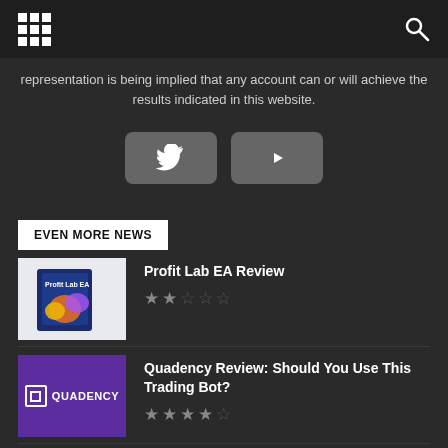Navigation header with grid menu icon and search icon
representation is being implied that any account can or will achieve the results indicated in this website.
[Figure (other): Social media buttons: Twitter and YouTube]
EVEN MORE NEWS
[Figure (photo): Profit Lab EA product box image]
Profit Lab EA Review
[Figure (other): 2 out of 5 stars rating]
[Figure (logo): Quadency purple logo with symbol]
Quadency Review: Should You Use This Trading Bot?
[Figure (other): 3.5 out of 5 stars rating]
[Figure (photo): FXHT DailyTrend EA product image]
FXHT DailyTrend EA Review
[Figure (other): 1 out of 5 stars rating]